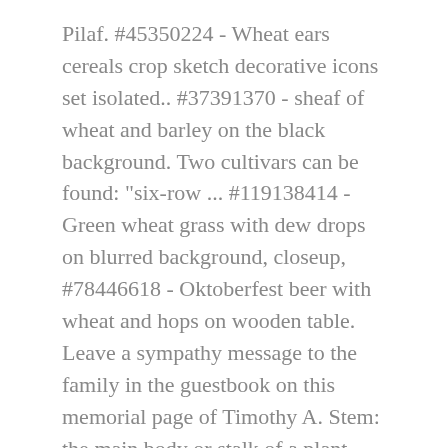Pilaf. #45350224 - Wheat ears cereals crop sketch decorative icons set isolated.. #37391370 - sheaf of wheat and barley on the black background. Two cultivars can be found: "six-row ... #119138414 - Green wheat grass with dew drops on blurred background, closeup, #78446618 - Oktoberfest beer with wheat and hops on wooden table. Leave a sympathy message to the family in the guestbook on this memorial page of Timothy A. Stem: the main body or stalk of a plant. Wheat straws. of 3,813. wheat spikelets barley bunch grain abstract wheat barley vector barley isolated ear of barley rye ears grain silhouette grains crop. Young green barley with seeds and roots. #54790130 - Human hand holding wheat ears and sun. #42534979 - Wheat field ripe grow, agriculture. 17 11 0. A cereal is an actual grass, primarily cultivated for the edible starch